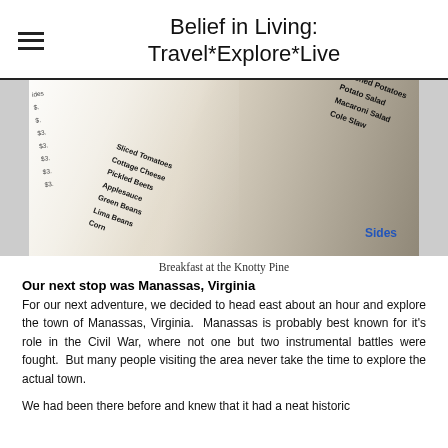Belief in Living: Travel*Explore*Live
[Figure (photo): Close-up photo of a restaurant menu showing sides options including Mashed Potatoes, Potato Salad, Macaroni Salad, Cole Slaw, Sliced Tomatoes, Cottage Cheese, Pickled Beets, Applesauce, Green Beans, Lima Beans, Corn, and more. The menu is lit with a glare of light across the left side.]
Breakfast at the Knotty Pine
Our next stop was Manassas, Virginia
For our next adventure, we decided to head east about an hour and explore the town of Manassas, Virginia.  Manassas is probably best known for it's role in the Civil War, where not one but two instrumental battles were fought.  But many people visiting the area never take the time to explore the actual town.
We had been there before and knew that it had a neat historic